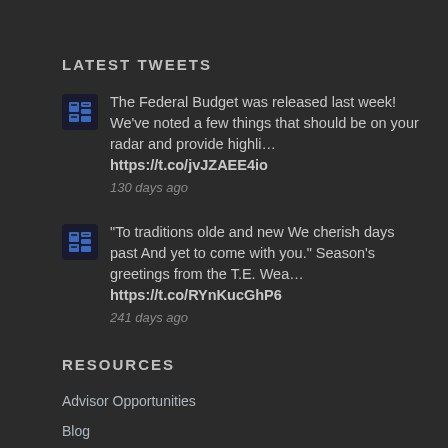LATEST TWEETS
The Federal Budget was released last week! We've noted a few things that should be on your radar and provide highli... https://t.co/jvJZAEE4io
130 days ago
“To traditions olde and new We cherish days past And yet to come with you.” Season’s greetings from the T.E. Wea... https://t.co/RYnKucGhP6
241 days ago
RESOURCES
Advisor Opportunities
Blog